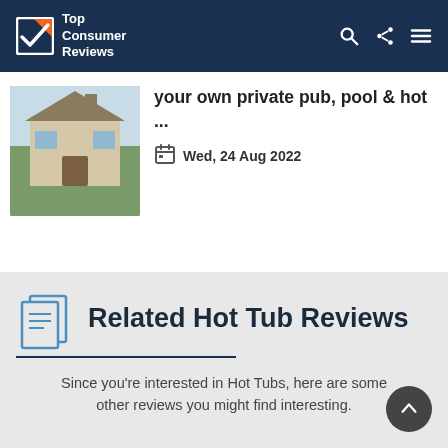Top Consumer Reviews
your own private pub, pool & hot ...
Wed, 24 Aug 2022
Related Hot Tub Reviews
Since you're interested in Hot Tubs, here are some other reviews you might find interesting.
[Figure (photo): Smiling people photo at bottom of page (partially visible)]